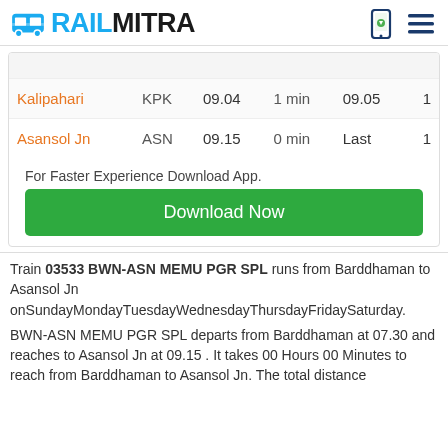RAILMITRA
| Station | Code | Arrival | Duration | Departure | Day |
| --- | --- | --- | --- | --- | --- |
| Kalipahari | KPK | 09.04 | 1 min | 09.05 | 1 |
| Asansol Jn | ASN | 09.15 | 0 min | Last | 1 |
For Faster Experience Download App.
Download Now
Train 03533 BWN-ASN MEMU PGR SPL runs from Barddhaman to Asansol Jn onSundayMondayTuesdayWednesdayThursdayFridaySaturday.
BWN-ASN MEMU PGR SPL departs from Barddhaman at 07.30 and reaches to Asansol Jn at 09.15 . It takes 00 Hours 00 Minutes to reach from Barddhaman to Asansol Jn. The total distance